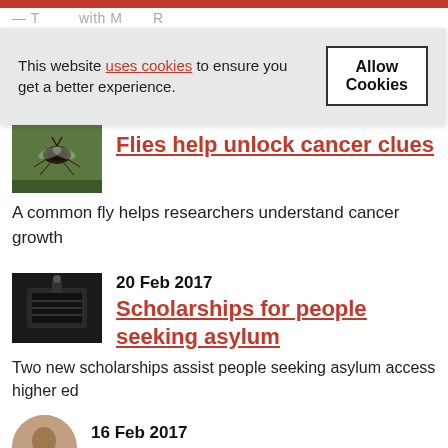This website uses cookies to ensure you get a better experience. Allow Cookies
[Figure (photo): Close-up photograph of a common fly on a green surface]
Flies help unlock cancer clues
A common fly helps researchers understand cancer growth
[Figure (photo): Dark photograph showing what appears to be a seismograph or recording instrument]
20 Feb 2017
Scholarships for people seeking asylum
Two new scholarships assist people seeking asylum access higher ed
[Figure (photo): Circular portrait photo of a person]
16 Feb 2017